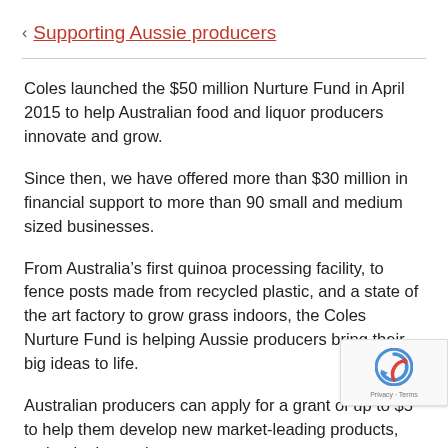< Supporting Aussie producers
Coles launched the $50 million Nurture Fund in April 2015 to help Australian food and liquor producers innovate and grow.
Since then, we have offered more than $30 million in financial support to more than 90 small and medium sized businesses.
From Australia’s first quinoa processing facility, to fence posts made from recycled plastic, and a state of the art factory to grow grass indoors, the Coles Nurture Fund is helping Aussie producers bring their big ideas to life.
Australian producers can apply for a grant of up to $5[...] to help them develop new market-leading products, technologies and processes.